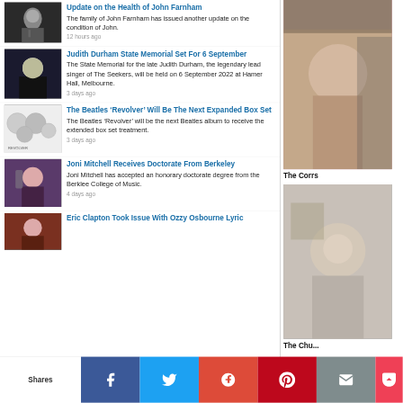[Figure (photo): News article thumbnail - performer singing on stage]
Update on the Health of John Farnham
The family of John Farnham has issued another update on the condition of John.
12 hours ago
[Figure (photo): News article thumbnail - woman with dark hair]
Judith Durham State Memorial Set For 6 September
The State Memorial for the late Judith Durham, the legendary lead singer of The Seekers, will be held on 6 September 2022 at Hamer Hall, Melbourne.
3 days ago
[Figure (photo): News article thumbnail - Beatles Revolver album cover]
The Beatles ‘Revolver’ Will Be The Next Expanded Box Set
The Beatles ‘Revolver’ will be the next Beatles album to receive the extended box set treatment.
3 days ago
[Figure (photo): News article thumbnail - Joni Mitchell performing]
Joni Mitchell Receives Doctorate From Berkeley
Joni Mitchell has accepted an honorary doctorate degree from the Berklee College of Music.
4 days ago
[Figure (photo): News article thumbnail - artist performing]
Eric Clapton Took Issue With Ozzy Osbourne Lyric
[Figure (photo): Right sidebar - The Corrs, woman at piano]
The Corrs
[Figure (photo): Right sidebar - The Church, man with glasses]
The Chu...
Shares